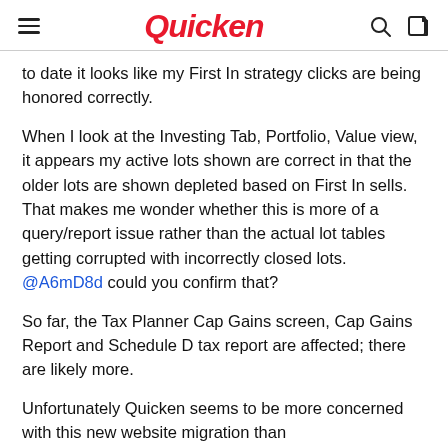Quicken
to date it looks like my First In strategy clicks are being honored correctly.
When I look at the Investing Tab, Portfolio, Value view, it appears my active lots shown are correct in that the older lots are shown depleted based on First In sells. That makes me wonder whether this is more of a query/report issue rather than the actual lot tables getting corrupted with incorrectly closed lots. @A6mD8d could you confirm that?
So far, the Tax Planner Cap Gains screen, Cap Gains Report and Schedule D tax report are affected; there are likely more.
Unfortunately Quicken seems to be more concerned with this new website migration than